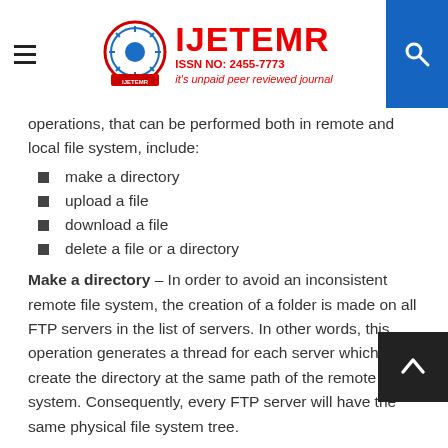IJETEMR — ISSN NO: 2455-7773 — it's unpaid peer reviewed journal
operations, that can be performed both in remote and local file system, include:
make a directory
upload a file
download a file
delete a file or a directory
Make a directory – In order to avoid an inconsistent remote file system, the creation of a folder is made on all FTP servers in the list of servers. In other words, this operation generates a thread for each server which will create the directory at the same path of the remote file system. Consequently, every FTP server will have the same physical file system tree.